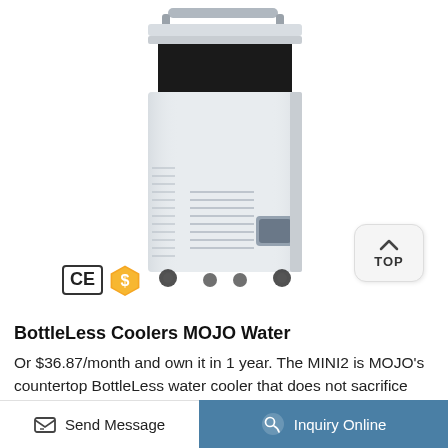[Figure (photo): A white countertop bottleless water cooler (MOJO MINI2) on caster wheels, open-top design, with ventilation grilles on the front and sides, a small control panel on the lower right front, shown on a white background. CE certification mark and a gold dollar shield badge are visible in the lower left. A 'TOP' navigation button is in the lower right corner.]
BottleLess Coolers MOJO Water
Or $36.87/month and own it in 1 year. The MINI2 is MOJO's countertop BottleLess water cooler that does not sacrifice capacity or quality. It is made
Send Message    Inquiry Online